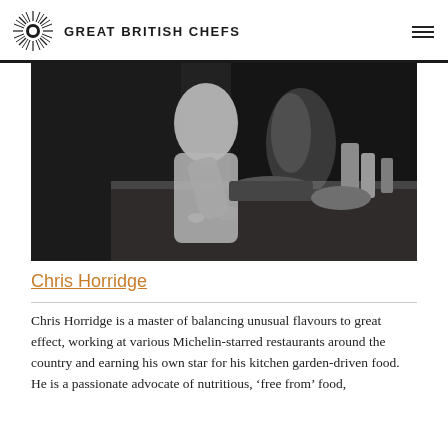GREAT BRITISH CHEFS
[Figure (photo): Black and white photograph of a chef working at a kitchen counter, leaning over a bowl with steam rising, surrounded by pots, pans, and bottles.]
Chris Horridge
Chris Horridge is a master of balancing unusual flavours to great effect, working at various Michelin-starred restaurants around the country and earning his own star for his kitchen garden-driven food. He is a passionate advocate of nutritious, ‘free from’ food,